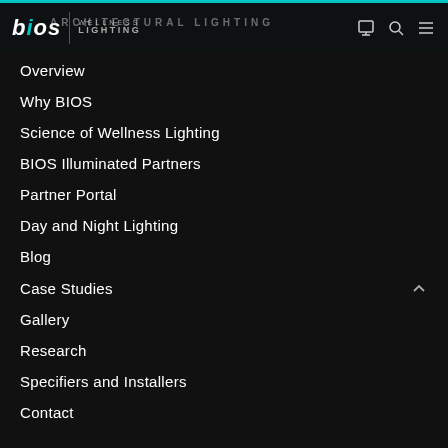bios | WELLNESS LIGHTING | ARCHITECTURAL LIGHTING
Overview
Why BIOS
Science of Wellness Lighting
BIOS Illuminated Partners
Partner Portal
Day and Night Lighting
Blog
Case Studies
Gallery
Research
Specifiers and Installers
Contact